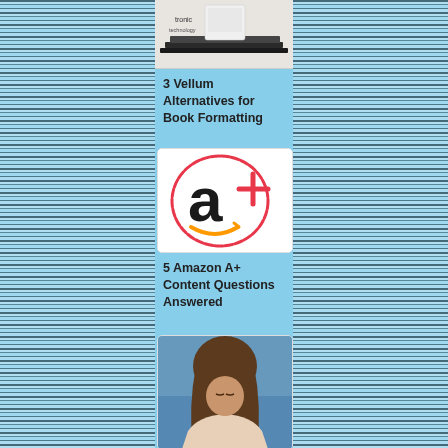[Figure (photo): Top cropped image of stacked books with text 'tronic', 'technology' partially visible]
3 Vellum Alternatives for Book Formatting
[Figure (illustration): Amazon A+ logo: lowercase black 'a' with red plus sign and orange arrow smile, encircled by a red hand-drawn circle, on white background with rounded border]
5 Amazon A+ Content Questions Answered
[Figure (photo): Photo of a young woman with curly brown hair looking down, partial crop at bottom of page]